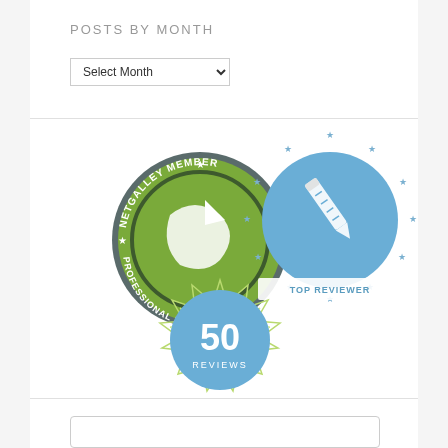POSTS BY MONTH
[Figure (screenshot): Select Month dropdown widget]
[Figure (illustration): Three circular badges: NetGalley Member Professional Reader badge (green), Top Reviewer badge (blue with stars), and 50 Reviews badge (blue circle with green ornate border)]